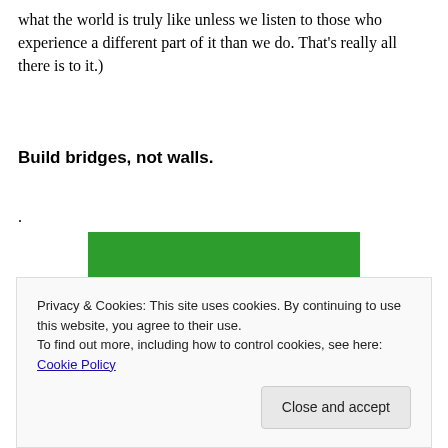what the world is truly like unless we listen to those who experience a different part of it than we do. That’s really all there is to it.)
Build bridges, not walls.
.
[Figure (screenshot): Green banner advertisement with white bold text reading 'Like an undo button for your WordPress site']
Privacy & Cookies: This site uses cookies. By continuing to use this website, you agree to their use.
To find out more, including how to control cookies, see here: Cookie Policy
Close and accept